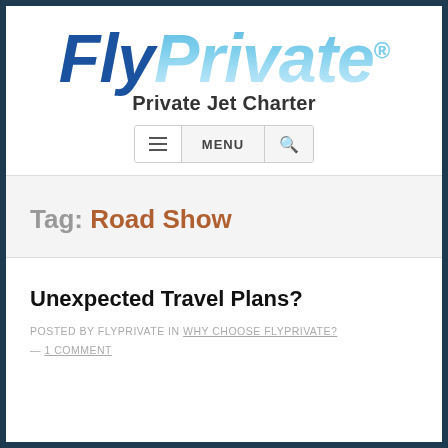[Figure (logo): FlyPrivate logo — 'Fly' in dark blue italic bold, 'Private' in light blue gradient italic bold, with registered trademark symbol]
Private Jet Charter
≡ MENU 🔍
Tag: Road Show
Unexpected Travel Plans?
POSTED BY FLYPRIVATE IN WHY CHOOSE FLYPRIVATE? — 1 COMMENT